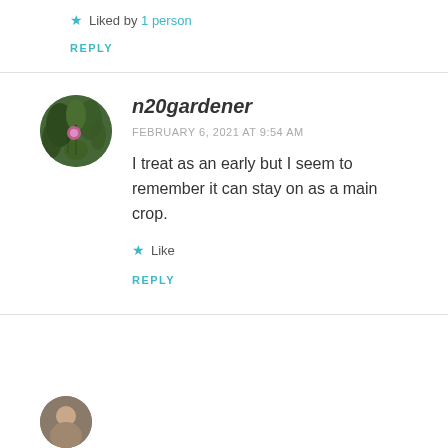★ Liked by 1 person
REPLY
[Figure (photo): Circular avatar photo of a garden with green plants and a pink flower]
n20gardener
FEBRUARY 6, 2021 AT 9:54 AM
I treat as an early but I seem to remember it can stay on as a main crop.
★ Like
REPLY
[Figure (photo): Circular avatar photo of another commenter, partially visible at bottom]